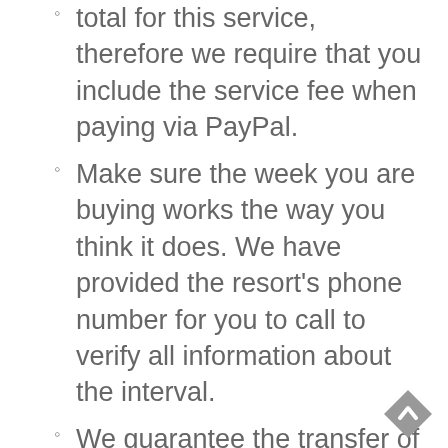total for this service, therefore we require that you include the service fee when paying via PayPal.
Make sure the week you are buying works the way you think it does. We have provided the resort's phone number for you to call to verify all information about the interval.
We guarantee the transfer of ownerships etc. or a complete refund of monies will be due to the buyer.
If you don't find what you're looking for, try our Wish List